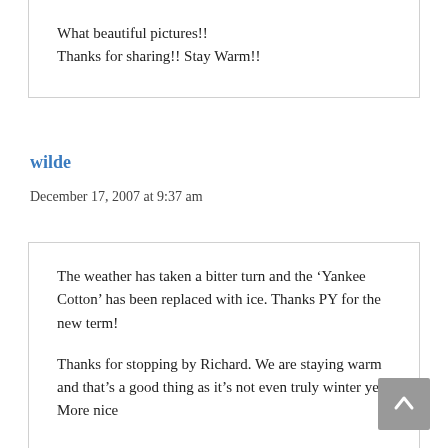What beautiful pictures!!
Thanks for sharing!! Stay Warm!!
wilde
December 17, 2007 at 9:37 am
The weather has taken a bitter turn and the ‘Yankee Cotton’ has been replaced with ice. Thanks PY for the new term!

Thanks for stopping by Richard. We are staying warm and that’s a good thing as it’s not even truly winter yet! More nice...